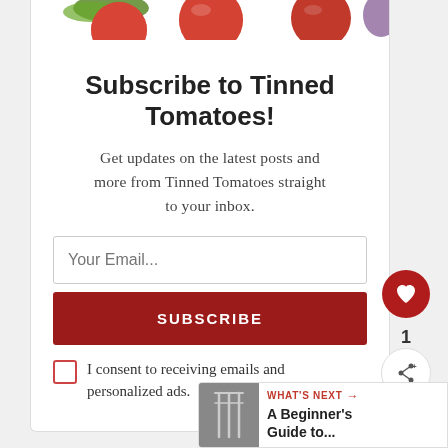[Figure (illustration): Cropped image of red tomatoes at the top of a subscription card widget]
Subscribe to Tinned Tomatoes!
Get updates on the latest posts and more from Tinned Tomatoes straight to your inbox.
Your Email...
SUBSCRIBE
I consent to receiving emails and personalized ads.
WHAT'S NEXT → A Beginner's Guide to...